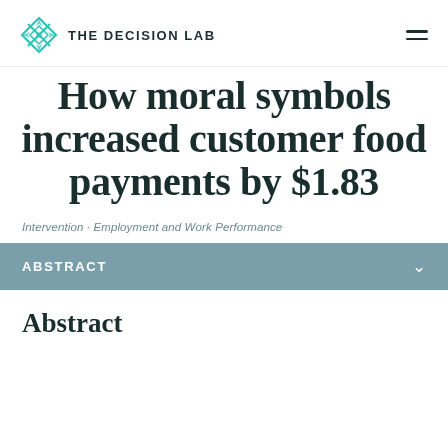THE DECISION LAB
How moral symbols increased customer food payments by $1.83
Intervention · Employment and Work Performance
ABSTRACT
Abstract